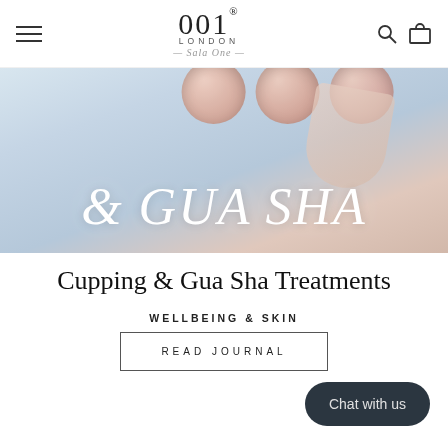001 London — Sala One (navigation bar with hamburger menu, logo, search and cart icons)
[Figure (photo): Hero banner image showing cupping therapy circles on skin with overlay text '& GUA SHA' in large white italic serif font against a light blue-grey and skin-tone background]
Cupping & Gua Sha Treatments
WELLBEING & SKIN
READ JOURNAL
Chat with us